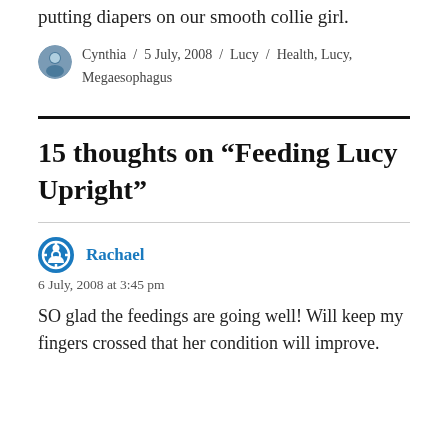putting diapers on our smooth collie girl.
Cynthia / 5 July, 2008 / Lucy / Health, Lucy, Megaesophagus
15 thoughts on “Feeding Lucy Upright”
Rachael
6 July, 2008 at 3:45 pm
SO glad the feedings are going well! Will keep my fingers crossed that her condition will improve.